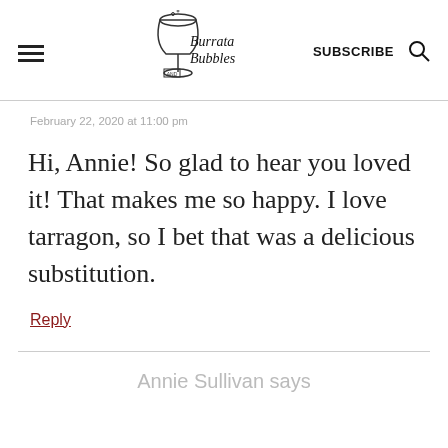Burrata and Bubbles — SUBSCRIBE
February 22, 2020 at 11:00 pm
Hi, Annie! So glad to hear you loved it! That makes me so happy. I love tarragon, so I bet that was a delicious substitution.
Reply
Annie Sullivan says